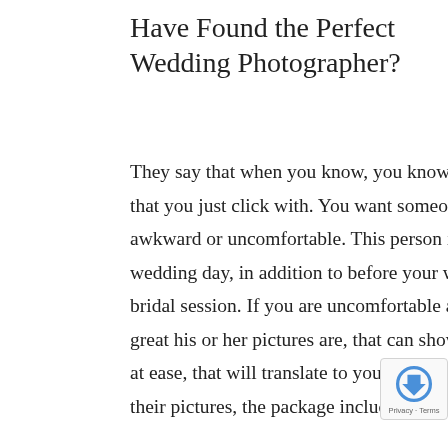Have Found the Perfect Wedding Photographer?
They say that when you know, you know. In all seriousness, you are looking for a photographer that you just click with. You want someone that makes you feel at ease and doesn't make you feel awkward or uncomfortable. This person is going to literally be beside you for most of your wedding day, in addition to before your wedding day if you choose to do engagement pictures or a bridal session. If you are uncomfortable around your wedding photographer, regardless of how great his or her pictures are, that can show up in your wedding photos. If you feel comfortable and at ease, that will translate to your pictures. Long story short, pick someone that you like, you love their pictures, the package includes